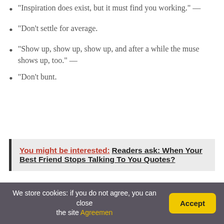“Inspiration does exist, but it must find you working.” —
“Don’t settle for average.
“Show up, show up, show up, and after a while the muse shows up, too.” —
“Don’t bunt.
You might be interested:  Readers ask: When Your Best Friend Stops Talking To You Quotes?
How do you thank a
We store cookies: if you do not agree, you can close the site Agreemen